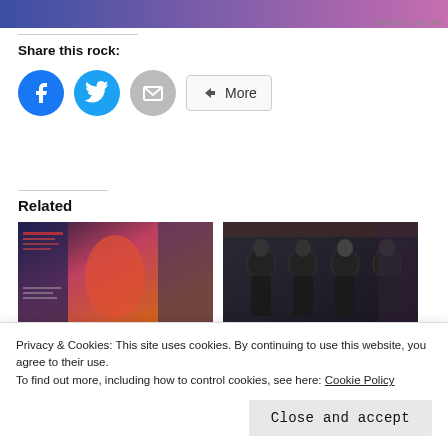[Figure (other): Advertisement banner with blue-to-pink gradient]
REPORT THIS AD
Share this rock:
[Figure (other): Share buttons: Facebook, Twitter, Email, More]
Related
[Figure (photo): Related article image showing a red-toned concert or album art]
[Figure (photo): Related article image showing a band photo of four people in dark clothing]
Privacy & Cookies: This site uses cookies. By continuing to use this website, you agree to their use.
To find out more, including how to control cookies, see here: Cookie Policy
Close and accept
In  Reviews